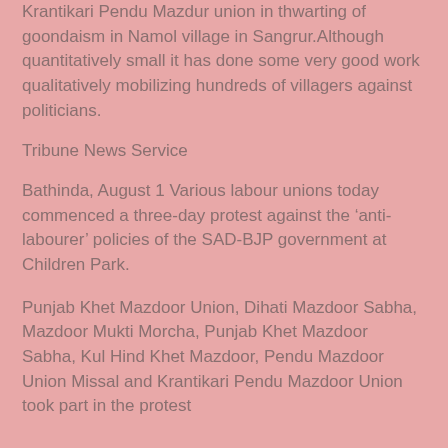Krantikari Pendu Mazdur union in thwarting of goondaism in Namol village in Sangrur.Although quantitatively small it has done some very good work qualitatively mobilizing hundreds of villagers against politicians.
Tribune News Service
Bathinda, August 1 Various labour unions today commenced a three-day protest against the ‘anti-labourer’ policies of the SAD-BJP government at Children Park.
Punjab Khet Mazdoor Union, Dihati Mazdoor Sabha, Mazdoor Mukti Morcha, Punjab Khet Mazdoor Sabha, Kul Hind Khet Mazdoor, Pendu Mazdoor Union Missal and Krantikari Pendu Mazdoor Union took part in the protest